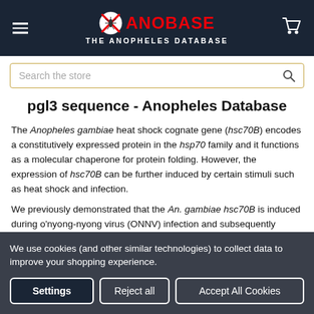ANOBASE - THE ANOPHELES DATABASE
Search the store
pgl3 sequence - Anopheles Database
The Anopheles gambiae heat shock cognate gene (hsc70B) encodes a constitutively expressed protein in the hsp70 family and it functions as a molecular chaperone for protein folding. However, the expression of hsc70B can be further induced by certain stimuli such as heat shock and infection.
We previously demonstrated that the An. gambiae hsc70B is induced during o'nyong-nyong virus (ONNV) infection and subsequently suppresses ONNV replication in the mosquito.
We use cookies (and other similar technologies) to collect data to improve your shopping experience.
Settings | Reject all | Accept All Cookies